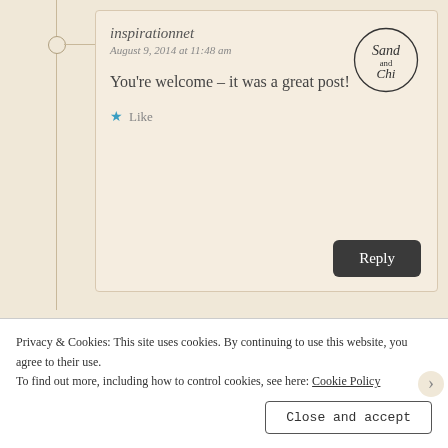inspirationnet
August 9, 2014 at 11:48 am
You're welcome – it was a great post!
Like
Reply
Sally Ember, Ed.D.
August 8, 2014 at 3:04 pm
Privacy & Cookies: This site uses cookies. By continuing to use this website, you agree to their use.
To find out more, including how to control cookies, see here: Cookie Policy
Close and accept